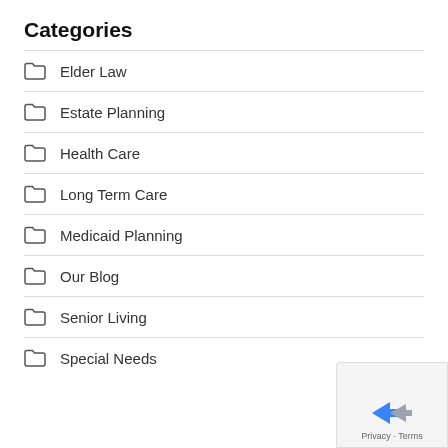Categories
Elder Law
Estate Planning
Health Care
Long Term Care
Medicaid Planning
Our Blog
Senior Living
Special Needs